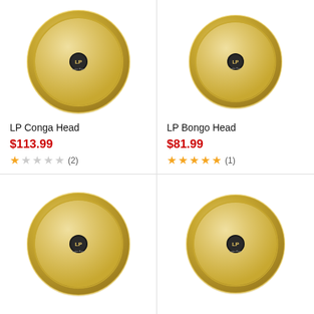[Figure (photo): LP Conga drum head, round, gold/cream colored with LP logo in center, viewed from top]
LP Conga Head
$113.99
★☆☆☆☆ (2)
[Figure (photo): LP Bongo drum head, round, gold/cream colored with LP logo in center, viewed from top, slightly smaller]
LP Bongo Head
$81.99
★★★★★ (1)
[Figure (photo): LP drum head, round, gold/cream colored with LP logo in center, viewed from top, bottom-left product]
[Figure (photo): LP drum head, round, gold/cream colored with LP logo in center, viewed from top, bottom-right product]